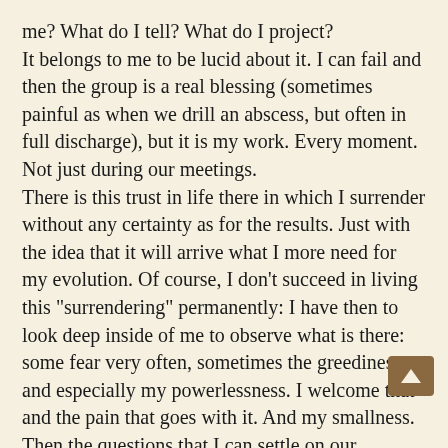me? What do I tell? What do I project?
It belongs to me to be lucid about it. I can fail and then the group is a real blessing (sometimes painful as when we drill an abscess, but often in full discharge), but it is my work. Every moment. Not just during our meetings.
There is this trust in life there in which I surrender without any certainty as for the results. Just with the idea that it will arrive what I more need for my evolution. Of course, I don’t succeed in living this “surrendering” permanently: I have then to look deep inside of me to observe what is there: some fear very often, sometimes the greediness, and especially my powerlessness. I welcome that and the pain that goes with it. And my smallness.
Then the questions that I can settle on our teacher... yeah, it is a good opportunity to go to explore my